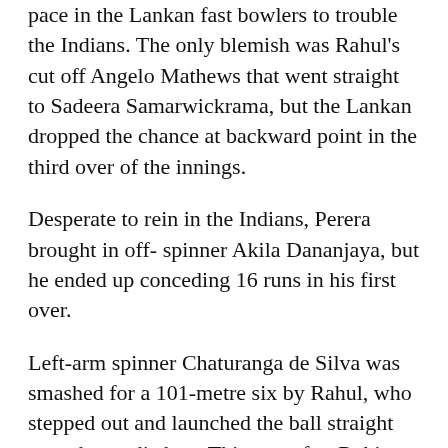pace in the Lankan fast bowlers to trouble the Indians. The only blemish was Rahul's cut off Angelo Mathews that went straight to Sadeera Samarwickrama, but the Lankan dropped the chance at backward point in the third over of the innings.
Desperate to rein in the Indians, Perera brought in off- spinner Akila Dananjaya, but he ended up conceding 16 runs in his first over.
Left-arm spinner Chaturanga de Silva was smashed for a 101-metre six by Rahul, who stepped out and launched the ball straight over the media box. This was after Rohit had hit two fours off the hapless spinner.
The Indian captain completed his fifty with a six off Asela Gunaratne and followed it up with another